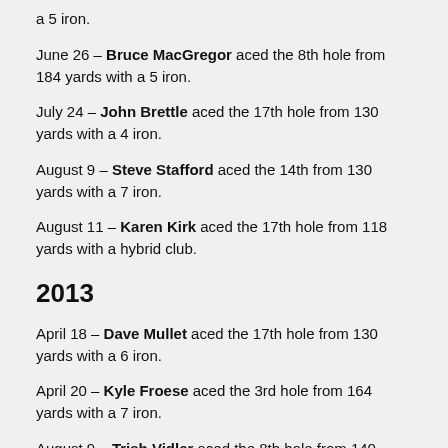a 5 iron.
June 26 – Bruce MacGregor aced the 8th hole from 184 yards with a 5 iron.
July 24 – John Brettle aced the 17th hole from 130 yards with a 4 iron.
August 9 – Steve Stafford aced the 14th from 130 yards with a 7 iron.
August 11 – Karen Kirk aced the 17th hole from 118 yards with a hybrid club.
2013
April 18 – Dave Mullet aced the 17th hole from 130 yards with a 6 iron.
April 20 – Kyle Froese aced the 3rd hole from 164 yards with a 7 iron.
August 9 – Trish Vidler aced the 8th hole from 140 yards with a 4 hybrid.
August 29 – Dan Minello aced the 14th hole from 118 yards